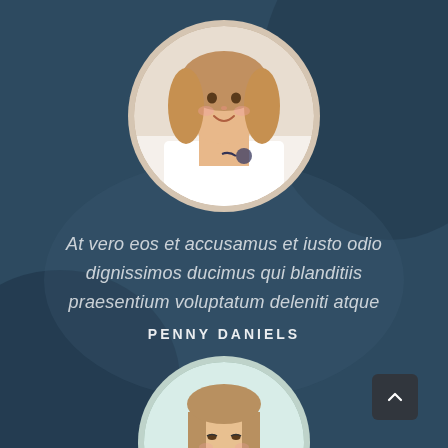[Figure (photo): Circular portrait photo of a young smiling girl with long light brown hair, lying on a white surface, with a medical device near her arm. Top section of page.]
At vero eos et accusamus et iusto odio dignissimos ducimus qui blanditiis praesentium voluptatum deleniti atque
PENNY DANIELS
[Figure (photo): Circular portrait photo of a young woman with long straight hair, looking down and smiling, wearing a light green top. Bottom section of page.]